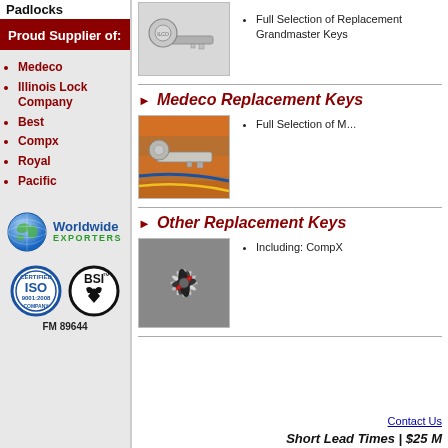Padlocks
Proud Supplier of:
Medeco
Illinois Lock Company
Best
Compx
Royal
Pacific
[Figure (logo): Worldwide Exporters globe logo]
[Figure (logo): ISO 9001:2008 Certified Company and BSI FM 89644 certification badges]
[Figure (photo): Photo of a key (Grandmaster Keys area)]
Full Selection of Replacement Grandmaster Keys
Medeco Replacement Keys
[Figure (photo): Photo of Medeco replacement keys on colorful background]
Full Selection of Medeco Replacement Keys
Other Replacement Keys
[Figure (photo): Photo of various other replacement keys including car keys and similar]
Including: CompX
Contact Us
Short Lead Times | $25 M